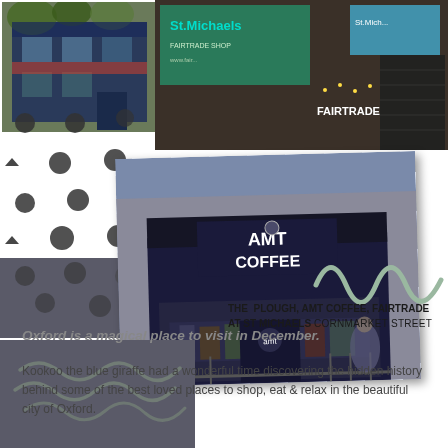[Figure (photo): Photo collage showing The Plough pub (top left, blue-fronted building with greenery), Fairtrade at St Michaels sign (top right, green/teal signage with fairy lights and brick wall), and AMT Coffee shop (center, blue/navy shopfront with AMT COFFEE signage)]
THE PLOUGH, AMT COFFEE, FAIRTRADE AT ST MICHAELS CORNMARKET STREET
Oxford is a magical place to visit in December.
Kookoo the blue giraffe had a wonderful time discovering the hidden history behind some of the best loved places to shop, eat & relax in the beautiful city of Oxford.